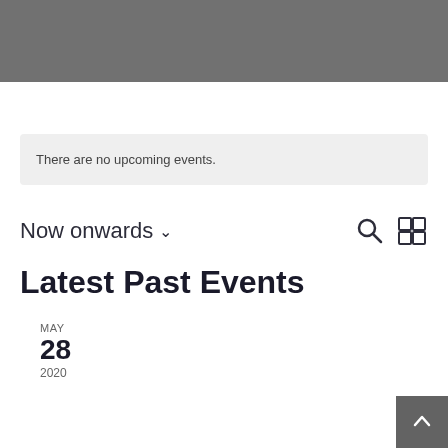[Figure (other): Gray header banner]
There are no upcoming events.
Now onwards ∨
MAY 28 2020
Latest Past Events